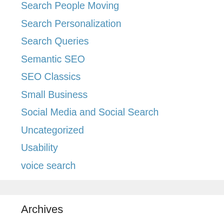Search People Moving
Search Personalization
Search Queries
Semantic SEO
SEO Classics
Small Business
Social Media and Social Search
Uncategorized
Usability
voice search
Archives